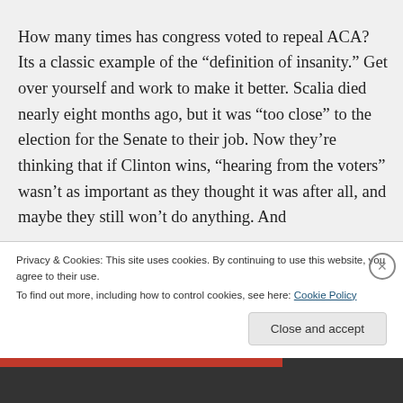How many times has congress voted to repeal ACA? Its a classic example of the “definition of insanity.” Get over yourself and work to make it better. Scalia died nearly eight months ago, but it was “too close” to the election for the Senate to their job. Now they’re thinking that if Clinton wins, “hearing from the voters” wasn’t as important as they thought it was after all, and maybe they still won’t do anything. And
Privacy & Cookies: This site uses cookies. By continuing to use this website, you agree to their use.
To find out more, including how to control cookies, see here: Cookie Policy